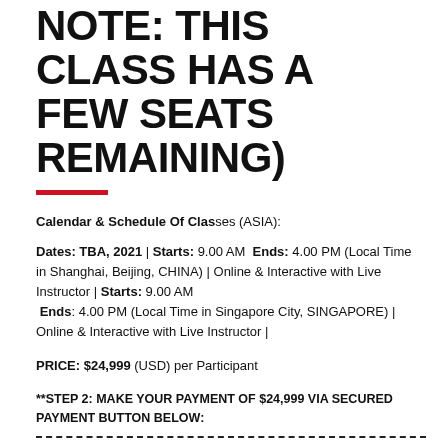NOTE: THIS CLASS HAS A FEW SEATS REMAINING)
Calendar & Schedule Of Classes (ASIA):
Dates: TBA, 2021 | Starts: 9.00 AM  Ends: 4.00 PM (Local Time in Shanghai, Beijing, CHINA) | Online & Interactive with Live Instructor | Starts: 9.00 AM  Ends: 4.00 PM (Local Time in Singapore City, SINGAPORE) | Online & Interactive with Live Instructor |
PRICE: $24,999 (USD) per Participant
**STEP 2: MAKE YOUR PAYMENT OF $24,999 VIA SECURED PAYMENT BUTTON BELOW: